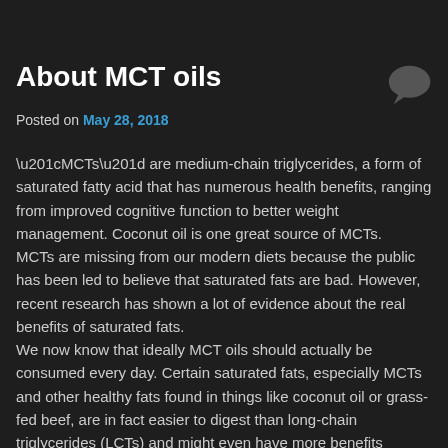About MCT oils
Posted on May 28, 2018
“MCTs” are medium-chain triglycerides, a form of saturated fatty acid that has numerous health benefits, ranging from improved cognitive function to better weight management. Coconut oil is one great source of MCTs.
MCTs are missing from our modern diets because the public has been led to believe that saturated fats are bad. However, recent research has shown a lot of evidence about the real benefits of saturated fats.
We now know that ideally MCT oils should actually be consumed every day. Certain saturated fats, especially MCTs and other healthy fats found in things like coconut oil or grass-fed beef, are in fact easier to digest than long-chain triglycerides (LCTs) and might even have more benefits related to heart health, obesity prevention and